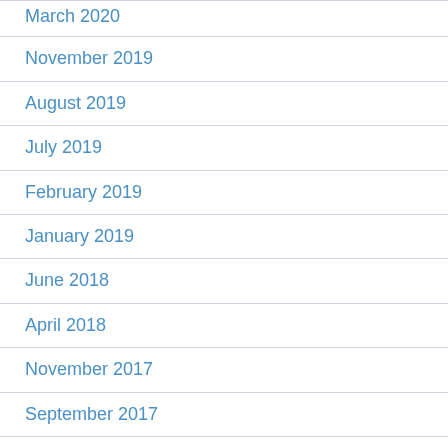March 2020
November 2019
August 2019
July 2019
February 2019
January 2019
June 2018
April 2018
November 2017
September 2017
July 2017